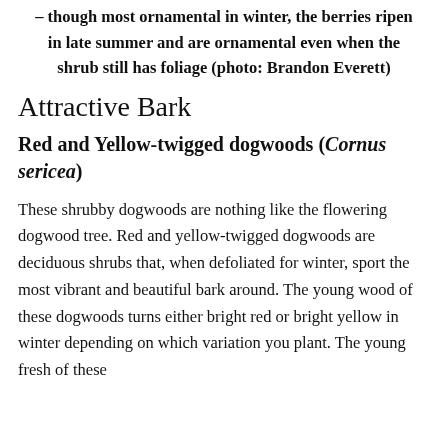– though most ornamental in winter, the berries ripen in late summer and are ornamental even when the shrub still has foliage (photo: Brandon Everett)
Attractive Bark
Red and Yellow-twigged dogwoods (Cornus sericea)
These shrubby dogwoods are nothing like the flowering dogwood tree. Red and yellow-twigged dogwoods are deciduous shrubs that, when defoliated for winter, sport the most vibrant and beautiful bark around. The young wood of these dogwoods turns either bright red or bright yellow in winter depending on which variation you plant. The young fresh of these...